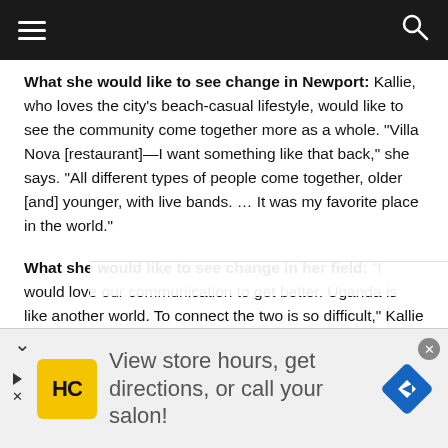Navigation bar with hamburger menu and search icon
What she would like to see change in Newport: Kallie, who loves the city's beach-casual lifestyle, would like to see the community come together more as a whole. “Villa Nova [restaurant]—I want something like that back,” she says. “All different types of people come together, older [and] younger, with live bands. … It was my favorite place in the world.”
What she would like to see change in her field: “I would love our communication to get better. Uganda is like another world. To connect the two is so difficult,” Kallie says. “I would like our customers to really understand the development and
[Figure (other): Advertisement banner: HC logo (yellow square with HC text), text reading 'View store hours, get directions, or call your salon!' and a blue navigation arrow diamond icon]